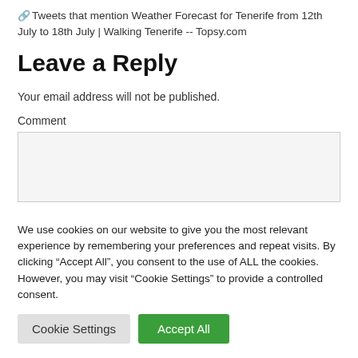Tweets that mention Weather Forecast for Tenerife from 12th July to 18th July | Walking Tenerife -- Topsy.com
Leave a Reply
Your email address will not be published.
Comment
We use cookies on our website to give you the most relevant experience by remembering your preferences and repeat visits. By clicking “Accept All”, you consent to the use of ALL the cookies. However, you may visit "Cookie Settings" to provide a controlled consent.